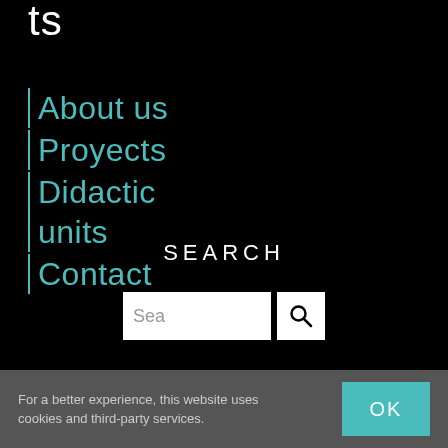ts
About us
Proyects
Didactic units
Contact
SEARCH
[Figure (other): Search input box with placeholder text 'Sea' and a magnifying glass icon button]
For a better experience, this website uses cookies and third-party services.